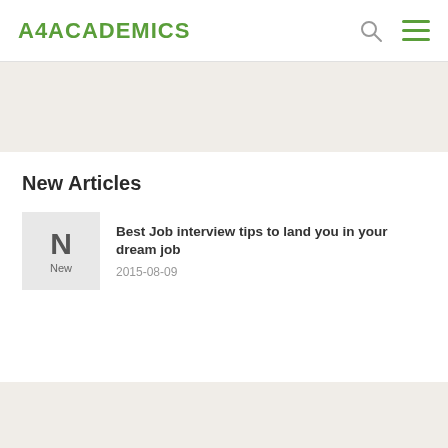A4ACADEMICS
New Articles
[Figure (illustration): Thumbnail placeholder with bold letter N and label 'New' on gray background]
Best Job interview tips to land you in your dream job
2015-08-09